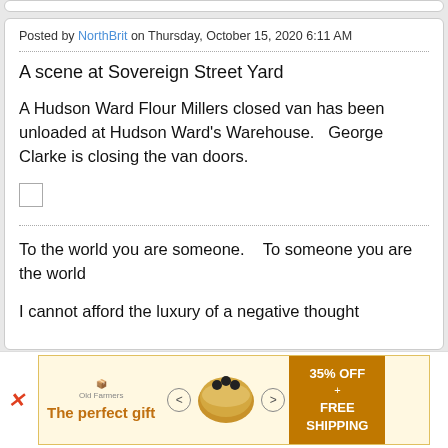Posted by NorthBrit on Thursday, October 15, 2020 6:11 AM
A scene at Sovereign Street Yard
A Hudson Ward Flour Millers closed van has been unloaded at Hudson Ward's Warehouse.   George Clarke is closing the van doors.
[Figure (other): Small empty checkbox square]
To the world you are someone.    To someone you are the world
I cannot afford the luxury of a negative thought
[Figure (infographic): Advertisement banner: The perfect gift, 35% OFF + FREE SHIPPING, food product with navigation arrows]